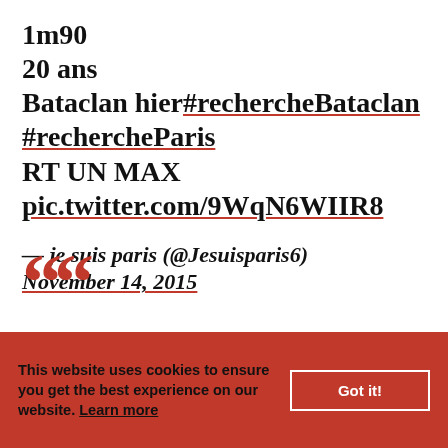1m90
20 ans
Bataclan hier#rechercheBataclan
#rechercheParis
RT UN MAX
pic.twitter.com/9WqN6WIIR8
— je suis paris (@Jesuisparis6) November 14, 2015
This website uses cookies to ensure you get the best experience on our website. Learn more